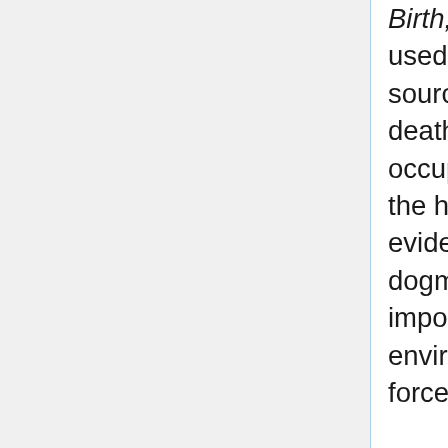Birth, poverty and wealth. Titmuss used statistical data from many sources to show that premature death was most likely in the lowest occupational groups, least likely in the highest. Titmuss knew that the evidence did not allow him to be dogmatic about the relative importance of heredity and environment but he was still forceful in his conclusions
'The fact that for every eleven infants of the economically favoured